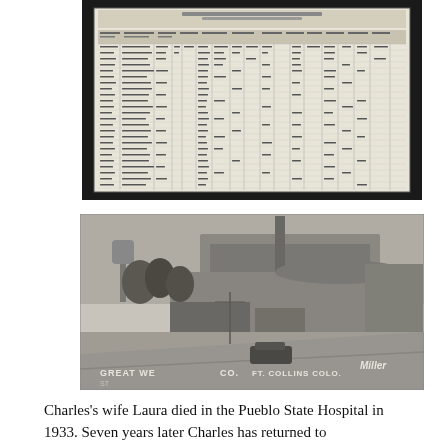[Figure (photo): Scanned U.S. Census population schedule form with handwritten entries in rows and columns, shown framed with a black border.]
[Figure (photo): Black and white photograph of the Great Western Sugar Company facility in Fort Collins, Colorado, showing industrial buildings, a tall smokestack, a water tower, and a road in the foreground. Caption reads 'GREAT WESTERN CO. FORT COLLINS COLO. MILLER'.]
Charles's wife Laura died in the Pueblo State Hospital in 1933. Seven years later Charles has returned to